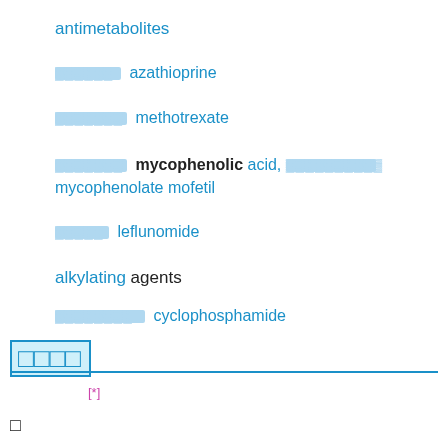antimetabolites
████████ azathioprine
████████ methotrexate
████████ mycophenolic acid, ██████████ mycophenolate mofetil
██████ leflunomide
alkylating agents
█████████ cyclophosphamide
████
[*]
□